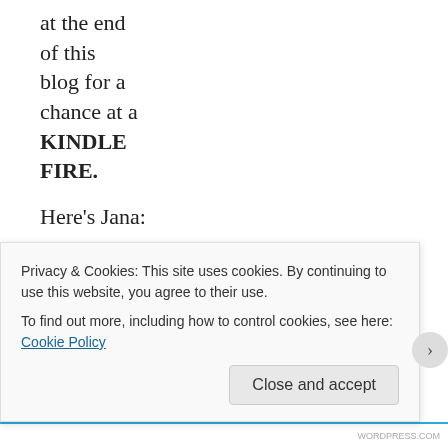at the end of this blog for a chance at a KINDLE FIRE.
Here's Jana:
My Inspiration for Spike
In my contemporary romance, CHILL OUT, my hero Noah arrives at his friend's cottage with his dog Spike in tow. Spike is a rather large dog, to say the least. He's an English
Privacy & Cookies: This site uses cookies. By continuing to use this website, you agree to their use.
To find out more, including how to control cookies, see here: Cookie Policy